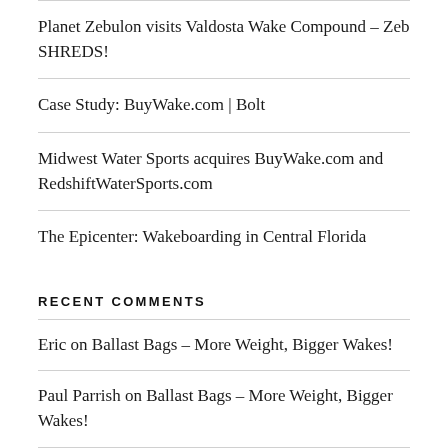Planet Zebulon visits Valdosta Wake Compound – Zeb SHREDS!
Case Study: BuyWake.com | Bolt
Midwest Water Sports acquires BuyWake.com and RedshiftWaterSports.com
The Epicenter: Wakeboarding in Central Florida
RECENT COMMENTS
Eric on Ballast Bags – More Weight, Bigger Wakes!
Paul Parrish on Ballast Bags – More Weight, Bigger Wakes!
Eric on Making a Wakeboard with Scott Bouchard of